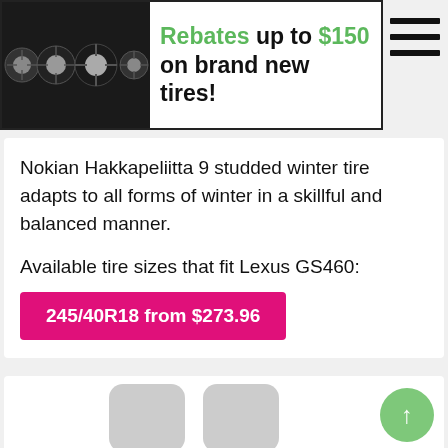[Figure (screenshot): Advertisement banner showing four car tires/wheels on left and text 'Rebates up to $150 on brand new tires!' on right, with hamburger menu icon in top-right corner]
Nokian Hakkapeliitta 9 studded winter tire adapts to all forms of winter in a skillful and balanced manner.
Available tire sizes that fit Lexus GS460:
245/40R18 from $273.96
[Figure (illustration): Image unavailable placeholder showing two grey rounded-rectangle shapes side by side with text 'Image unavailable' below them]